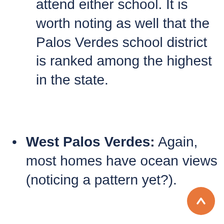attend either school. It is worth noting as well that the Palos Verdes school district is ranked among the highest in the state.
West Palos Verdes: Again, most homes have ocean views (noticing a pattern yet?).